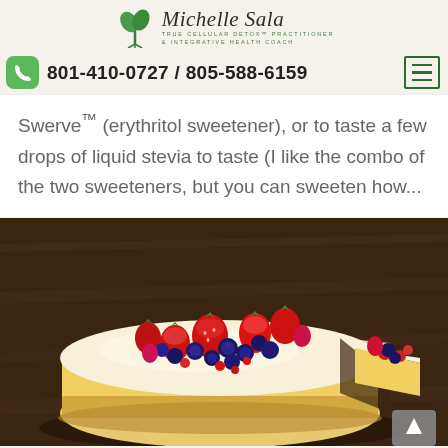Michelle Sala – True Cellular Detox Practitioner & Integrative Health Coach | 801-410-0727 / 805-588-6159
Swerve™ (erythritol sweetener), or to taste a few drops of liquid stevia to taste (I like the combo of the two sweeteners, but you can sweeten how...
[Figure (photo): A round cheesecake topped with fresh strawberries, blueberries, and raspberries, with a slice partially removed, sitting on a wooden board.]